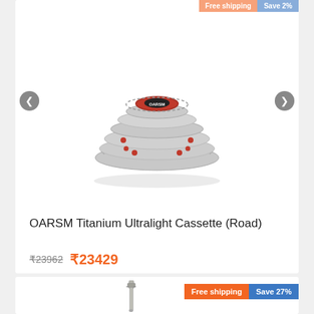[Figure (photo): OARSM Titanium bicycle cassette with red anodized center ring, multiple sprockets, metallic silver finish]
OARSM Titanium Ultralight Cassette (Road)
₹23962  ₹23429
[Figure (photo): Bicycle seatpost, titanium/silver finish, partially visible at bottom of page]
Free shipping  Save 27%